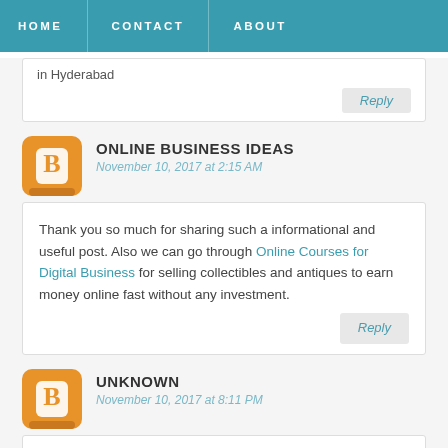HOME   CONTACT   ABOUT
in Hyderabad
Reply
ONLINE BUSINESS IDEAS
November 10, 2017 at 2:15 AM
Thank you so much for sharing such a informational and useful post. Also we can go through Online Courses for Digital Business for selling collectibles and antiques to earn money online fast without any investment.
Reply
UNKNOWN
November 10, 2017 at 8:11 PM